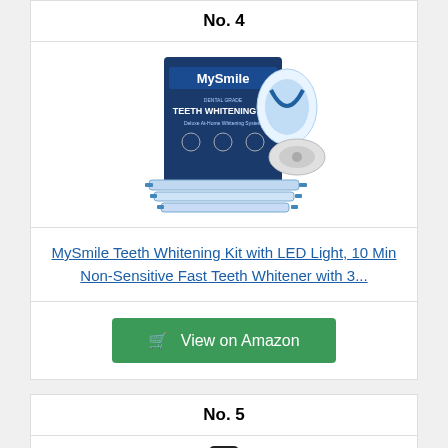No. 4
[Figure (photo): MySmile Dental Grade Teeth Whitening Kit product photo showing box and components including LED light device and whitening gel syringes]
MySmile Teeth Whitening Kit with LED Light, 10 Min Non-Sensitive Fast Teeth Whitener with 3...
View on Amazon
No. 5
[Figure (photo): Partial view of a black product (No. 5 item, top portion visible)]